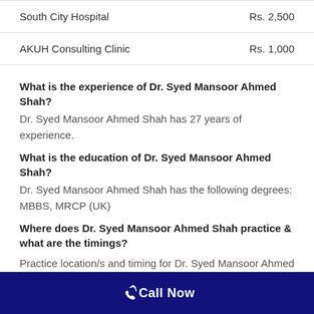| Hospital | Fee |
| --- | --- |
| South City Hospital | Rs. 2,500 |
| AKUH Consulting Clinic | Rs. 1,000 |
What is the experience of Dr. Syed Mansoor Ahmed Shah?
Dr. Syed Mansoor Ahmed Shah has 27 years of experience.
What is the education of Dr. Syed Mansoor Ahmed Shah?
Dr. Syed Mansoor Ahmed Shah has the following degrees: MBBS, MRCP (UK)
Where does Dr. Syed Mansoor Ahmed Shah practice & what are the timings?
Practice location/s and timing for Dr. Syed Mansoor Ahmed Shah are:
South City Hospital